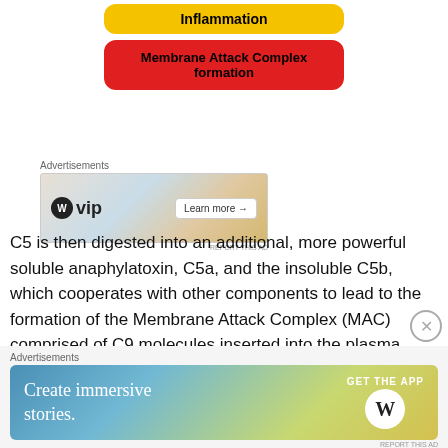[Figure (infographic): Diagram showing two colored boxes: a yellow rounded box labeled 'Inflammation' and a red rounded box below labeled 'Membrane Attack Complex formation']
[Figure (other): Advertisement banner for WordPress VIP with 'Learn more' button, showing logos of various tech platforms]
C5 is then digested into an additional, more powerful soluble anaphylatoxin, C5a, and the insoluble C5b, which cooperates with other components to lead to the formation of the Membrane Attack Complex (MAC) comprised of C9 molecules inserted into the plasma membrane.
[Figure (other): Advertisement banner saying 'Create immersive stories. GET THE APP' with WordPress logo]